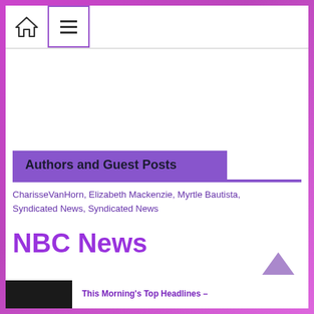Home | Menu
[Figure (other): Advertisement placeholder area (blank white space)]
Authors and Guest Posts
CharisseVanHorn, Elizabeth Mackenzie, Myrtle Bautista, Syndicated News, Syndicated News
NBC News
This Morning's Top Headlines –